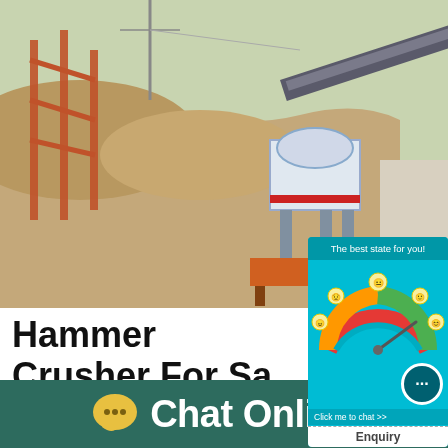[Figure (photo): Aerial view of a mining/crushing facility with industrial machinery, conveyor belts, crushing equipment, and sand/gravel piles on site. Orange metal structures and processing equipment visible.]
[Figure (infographic): Popup chat widget showing a satisfaction gauge meter (red-orange-green speedometer style) with emoji faces, chat button with '...' symbol, 'Click me to chat >>' text, and 'Enquiry' label at bottom. Teal/cyan background with 'The best state for you!' header.]
Hammer Crusher For Sa... Mining, Metallurgical ..
Hammer Crusher For Sale Used In Mining, M... ical Our Services Zhengzhou Shuguang Heav... td is factory specializing in shredder machine...
Chat Online